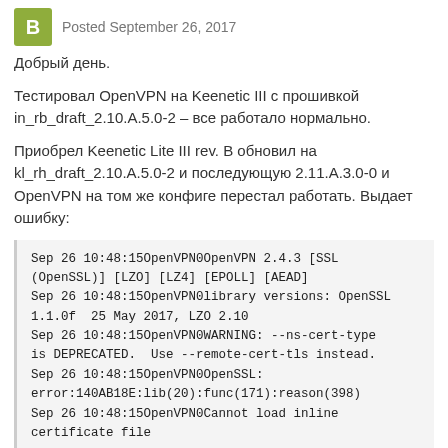Posted September 26, 2017
Добрый день.
Тестировал OpenVPN на Keenetic III с прошивкой in_rb_draft_2.10.A.5.0-2 – все работало нормально.
Приобрел Keenetic Lite III rev. В обновил на kl_rh_draft_2.10.A.5.0-2 и последующую 2.11.A.3.0-0 и OpenVPN на том же конфиге перестал работать. Выдает ошибку:
Sep 26 10:48:15OpenVPN0OpenVPN 2.4.3 [SSL (OpenSSL)] [LZO] [LZ4] [EPOLL] [AEAD]
Sep 26 10:48:15OpenVPN0library versions: OpenSSL 1.1.0f  25 May 2017, LZO 2.10
Sep 26 10:48:15OpenVPN0WARNING: --ns-cert-type is DEPRECATED.  Use --remote-cert-tls instead.
Sep 26 10:48:15OpenVPN0OpenSSL: error:140AB18E:lib(20):func(171):reason(398)
Sep 26 10:48:15OpenVPN0Cannot load inline certificate file